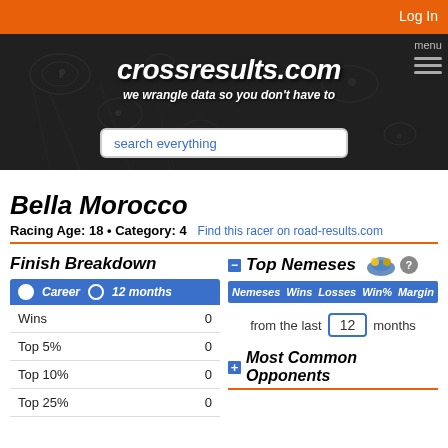Log In
[Figure (screenshot): crossresults.com website banner with logo text 'crossresults.com' and tagline 'we wrangle data so you don't have to', search box, and menu icon on dark water-droplets background]
Bella Morocco
Racing Age: 18 • Category: 4   Find this racer on road-results.com
Finish Breakdown
|  |  |
| --- | --- |
| Wins | 0 |
| Top 5% | 0 |
| Top 10% | 0 |
| Top 25% | 0 |
Top Nemeses
| Nemeses | Wins | Losses | Win% | Margin |
| --- | --- | --- | --- | --- |
| from the last | 12 | months |  |  |
Most Common Opponents